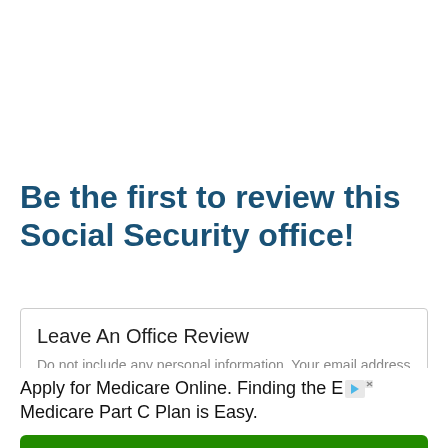Be the first to review this Social Security office!
Leave An Office Review
Do not include any personal information. Your email address will not be published. All fields are required.
Apply for Medicare Online. Finding the E[truncated] Medicare Part C Plan is Easy.
Get Quote
Ad